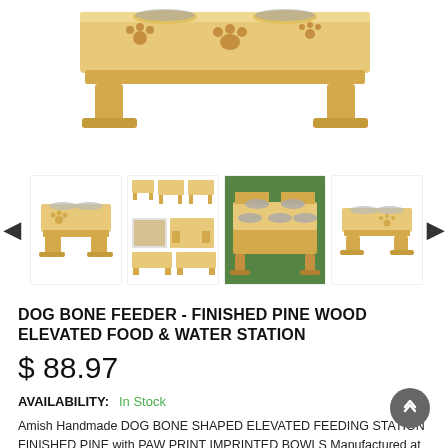[Figure (photo): Main product photo of a wooden dog bone feeder elevated food and water station with paw print cutouts on the front panel, two stainless steel bowls on top, light pine wood finish.]
[Figure (photo): Thumbnail gallery row showing multiple views and sizes of the wooden dog bone feeder: left thumbnail shows single unit with two bowls, middle thumbnail shows multiple sizes/configurations, center-right thumbnail shows outdoor photo with multiple stacked units, right thumbnail shows another view of a unit with two bowls. Navigation arrows on left and right.]
DOG BONE FEEDER - FINISHED PINE WOOD ELEVATED FOOD & WATER STATION
$ 88.97
AVAILABILITY:  In Stock
Amish Handmade DOG BONE SHAPED ELEVATED FEEDING STATION FINISHED PINE with PAW PRINT IMPRINTED BOWLS Manufactured at an